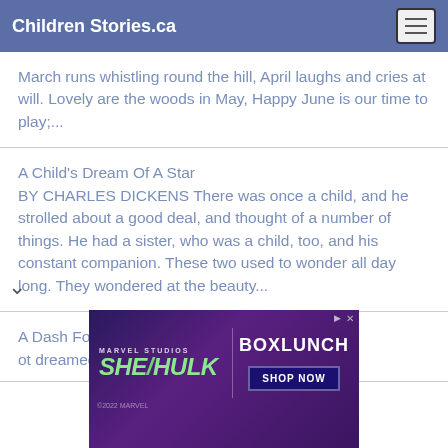Children Stories.ca
March runs whistling round the hill, April laughs and cries at will. Lovely are the woods in May, Happy June is our time to play;...
A Child's Dream Of A Star
BY CHARLES DICKENS There was once a child, and he strolled about a good deal, and thought of a number of things. He had a sister, who was a child, too, and his constant companion. These two used to wonder all day long. They wondered at the beauty...
A Dash For Liberty
ot dreamed that she was at home in her own
[Figure (screenshot): Marvel Studios She-Hulk × BoxLunch advertisement banner with shop now button]